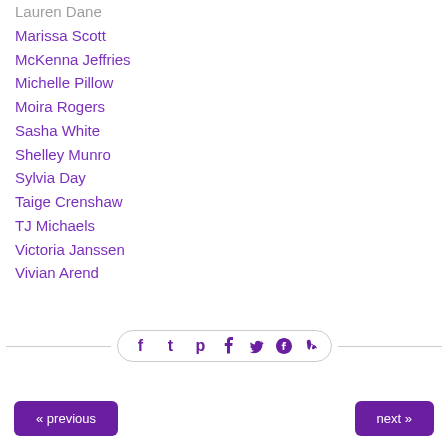Lauren Dane
Marissa Scott
McKenna Jeffries
Michelle Pillow
Moira Rogers
Sasha White
Shelley Munro
Sylvia Day
Taige Crenshaw
TJ Michaels
Victoria Janssen
Vivian Arend
[Figure (other): Social sharing icons bar with Facebook, Twitter, Pinterest, and Tumblr icons inside a rounded rectangle, flanked by horizontal lines]
« previous   next »